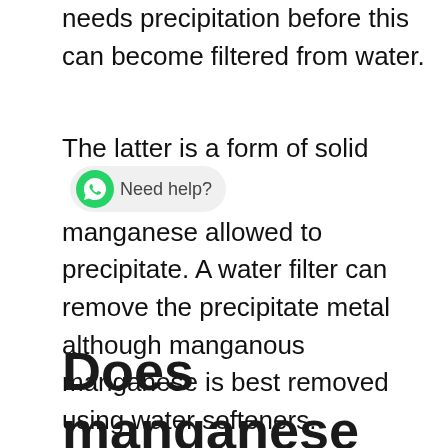needs precipitation before this can become filtered from water.
The latter is a form of solid manganese allowed to precipitate. A water filter can remove the precipitate metal although manganous manganese is best removed using water softeners.
Does manganese stains